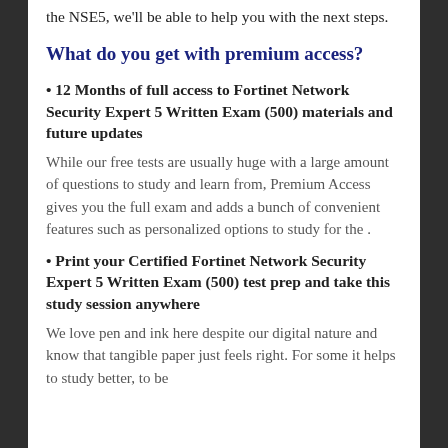the NSE5, we'll be able to help you with the next steps.
What do you get with premium access?
• 12 Months of full access to Fortinet Network Security Expert 5 Written Exam (500) materials and future updates
While our free tests are usually huge with a large amount of questions to study and learn from, Premium Access gives you the full exam and adds a bunch of convenient features such as personalized options to study for the .
• Print your Certified Fortinet Network Security Expert 5 Written Exam (500) test prep and take this study session anywhere
We love pen and ink here despite our digital nature and know that tangible paper just feels right. For some it helps to study better, to be